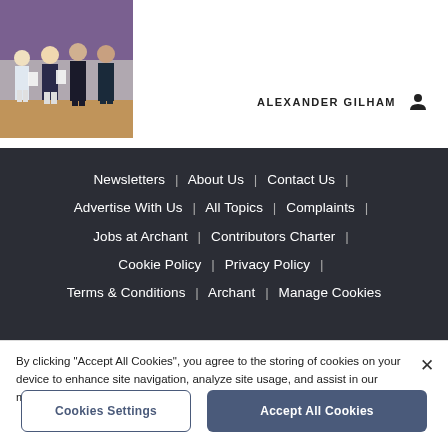[Figure (photo): Group photo of several people standing together holding papers, in front of a purple wall]
ALEXANDER GILHAM
Newsletters | About Us | Contact Us | Advertise With Us | All Topics | Complaints | Jobs at Archant | Contributors Charter | Cookie Policy | Privacy Policy | Terms & Conditions | Archant | Manage Cookies
[Figure (logo): IPSO Regulated badge/logo]
By clicking "Accept All Cookies", you agree to the storing of cookies on your device to enhance site navigation, analyze site usage, and assist in our marketing efforts.
Cookies Settings
Accept All Cookies